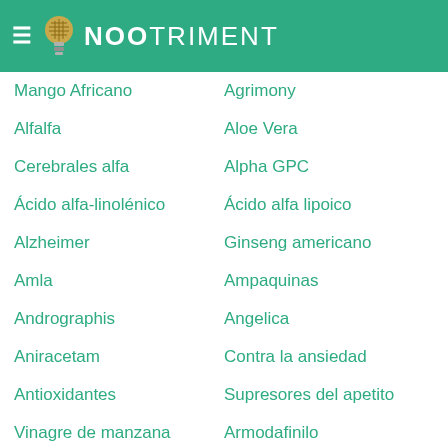NOOTRIMENT
Mango Africano
Agrimony
Alfalfa
Aloe Vera
Cerebrales alfa
Alpha GPC
Ácido alfa-linolénico
Ácido alfa lipoico
Alzheimer
Ginseng americano
Amla
Ampaquinas
Andrographis
Angelica
Aniracetam
Contra la ansiedad
Antioxidantes
Supresores del apetito
Vinagre de manzana
Armodafinilo
Árnica
Artemisinina